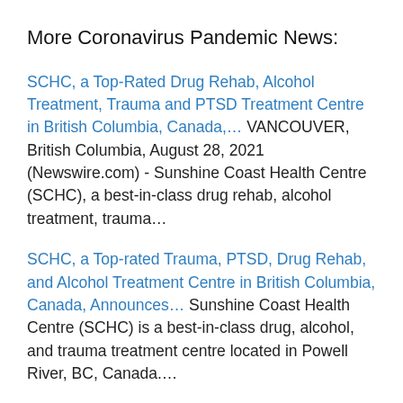More Coronavirus Pandemic News:
SCHC, a Top-Rated Drug Rehab, Alcohol Treatment, Trauma and PTSD Treatment Centre in British Columbia, Canada,… VANCOUVER, British Columbia, August 28, 2021 (Newswire.com) - Sunshine Coast Health Centre (SCHC), a best-in-class drug rehab, alcohol treatment, trauma…
SCHC, a Top-rated Trauma, PTSD, Drug Rehab, and Alcohol Treatment Centre in British Columbia, Canada, Announces… Sunshine Coast Health Centre (SCHC) is a best-in-class drug, alcohol, and trauma treatment centre located in Powell River, BC, Canada….
SCHC, a Top-rated Trauma and PTSD Treatment Centre in British Columbia, Canada, Announces New Post on… Sunshine Coast Health Centre